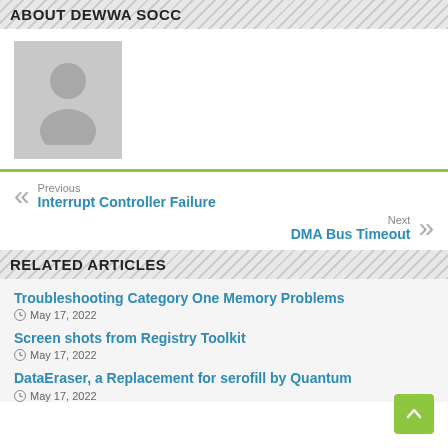ABOUT DEWWA SOCC
[Figure (illustration): Gray placeholder avatar silhouette image]
Previous
Interrupt Controller Failure
Next
DMA Bus Timeout
RELATED ARTICLES
Troubleshooting Category One Memory Problems
May 17, 2022
Screen shots from Registry Toolkit
May 17, 2022
DataEraser, a Replacement for serofill by Quantum
May 17, 2022